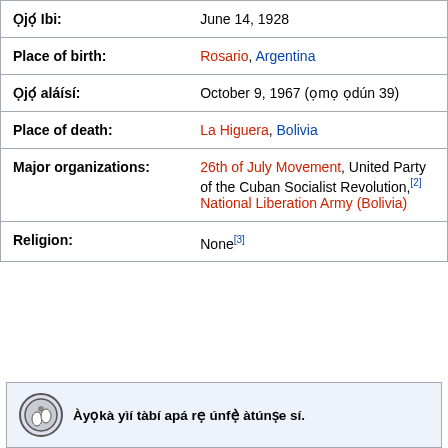| Ọjọ́ Ibi: | June 14, 1928 |
| Place of birth: | Rosario, Argentina |
| Ọjọ́ aláísí: | October 9, 1967 (ọmọ ọdún 39) |
| Place of death: | La Higuera, Bolivia |
| Major organizations: | 26th of July Movement, United Party of the Cuban Socialist Revolution,[2] National Liberation Army (Bolivia) |
| Religion: | None[3] |
Àyọkà yìí tàbí apá rẹ únfẹ̀ àtúnṣe sí.